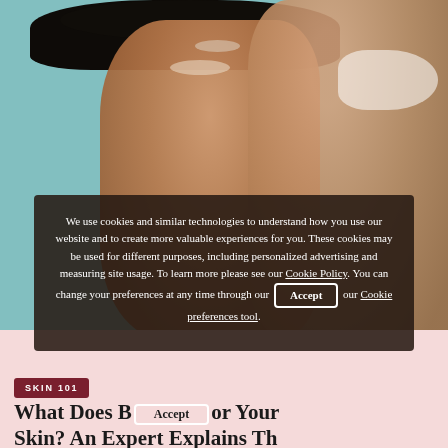[Figure (photo): Close-up photo of a smiling Black woman touching her face/cheek with her hand, against a teal/blue background. Her nails are manicured and she is showing radiant skin.]
We use cookies and similar technologies to understand how you use our website and to create more valuable experiences for you. These cookies may be used for different purposes, including personalized advertising and measuring site usage. To learn more please see our Cookie Policy. You can change your preferences at any time through our Cookie preferences tool.
SKIN 101
What Does B… for Your Skin? An Expert Explains Th…